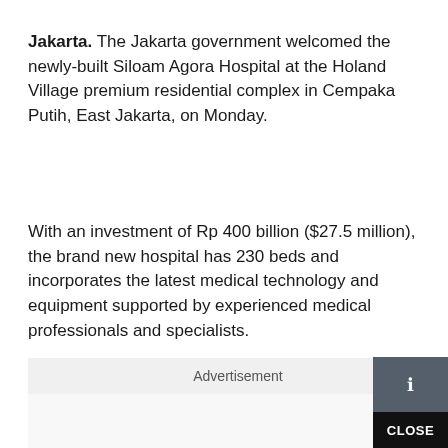Jakarta. The Jakarta government welcomed the newly-built Siloam Agora Hospital at the Holand Village premium residential complex in Cempaka Putih, East Jakarta, on Monday.
With an investment of Rp 400 billion ($27.5 million), the brand new hospital has 230 beds and incorporates the latest medical technology and equipment supported by experienced medical professionals and specialists.
Advertisement